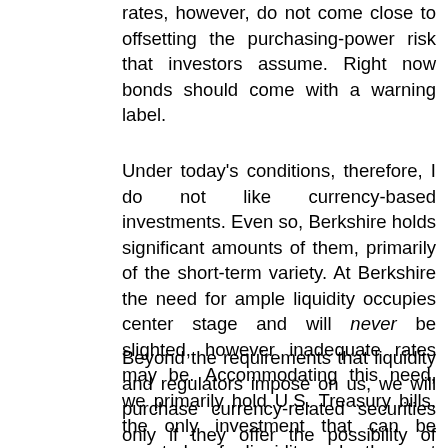rates, however, do not come close to offsetting the purchasing-power risk that investors assume. Right now bonds should come with a warning label.
Under today's conditions, therefore, I do not like currency-based investments. Even so, Berkshire holds significant amounts of them, primarily of the short-term variety. At Berkshire the need for ample liquidity occupies center stage and will never be slighted, however inadequate rates may be. Accommodating this need, we primarily hold U.S. Treasury bills, the only investment that can be counted on for liquidity under the most chaotic of economic conditions. Our working level for liquidity is $20 billion; $10 billion is our absolute minimum.
Beyond the requirements that liquidity and regulators impose on us, we will purchase currency-related securities only if they offer the possibility of unusual gain – either because a particular credit is mispriced, as can occur in periodic junk-bond debacles, or because rates rise to a level that offers the possibility of